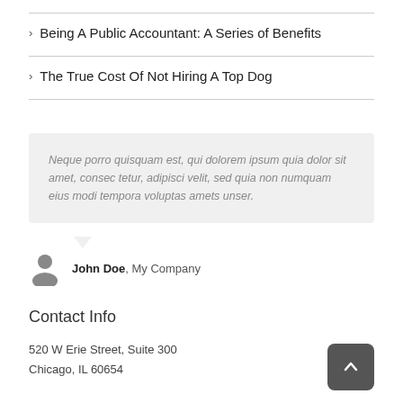Being A Public Accountant: A Series of Benefits
The True Cost Of Not Hiring A Top Dog
Neque porro quisquam est, qui dolorem ipsum quia dolor sit amet, consec tetur, adipisci velit, sed quia non numquam eius modi tempora voluptas amets unser.
John Doe, My Company
Contact Info
520 W Erie Street, Suite 300
Chicago, IL 60654